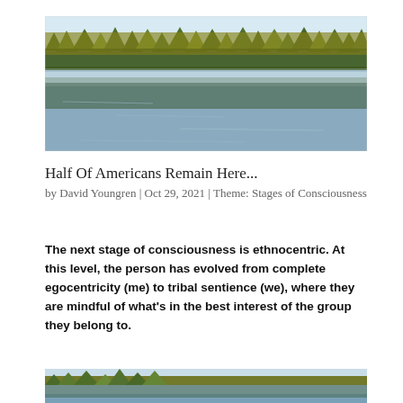[Figure (photo): Wide landscape photo of pine forest reflecting in a calm lake at golden hour]
Half Of Americans Remain Here...
by David Youngren | Oct 29, 2021 | Theme: Stages of Consciousness
The next stage of consciousness is ethnocentric. At this level, the person has evolved from complete egocentricity (me) to tribal sentience (we), where they are mindful of what's in the best interest of the group they belong to.
[Figure (photo): Partial view of the same pine forest and lake landscape photo (cropped, bottom of page)]